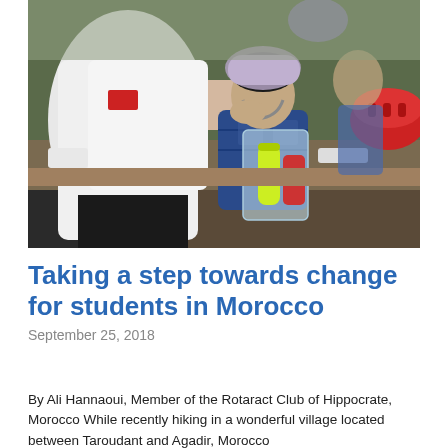[Figure (photo): Outdoor scene showing a person in a white shirt helping a child put on a bicycle helmet. The child is wearing a blue sweater and holding a clear plastic bag with a yellow water bottle and red items inside. A red helmet is visible in the background on the right. They appear to be at an outdoor event.]
Taking a step towards change for students in Morocco
September 25, 2018
By Ali Hannaoui, Member of the Rotaract Club of Hippocrate, Morocco While recently hiking in a wonderful village located between Taroudant and Agadir, Morocco